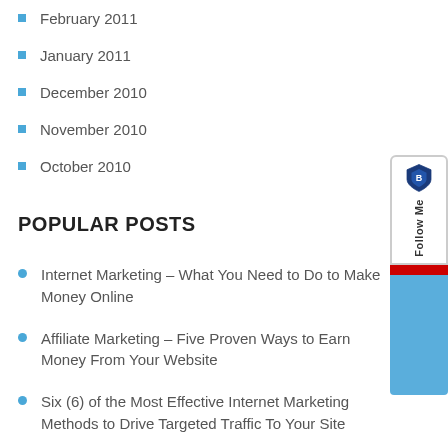February 2011
January 2011
December 2010
November 2010
October 2010
POPULAR POSTS
Internet Marketing – What You Need to Do to Make Money Online
Affiliate Marketing – Five Proven Ways to Earn Money From Your Website
Six (6) of the Most Effective Internet Marketing Methods to Drive Targeted Traffic To Your Site
For Better Blogging – Think About Your Blog Design And Layout
Internet Marketing – How to Monetise Your Blog Or Website To Make Money Online